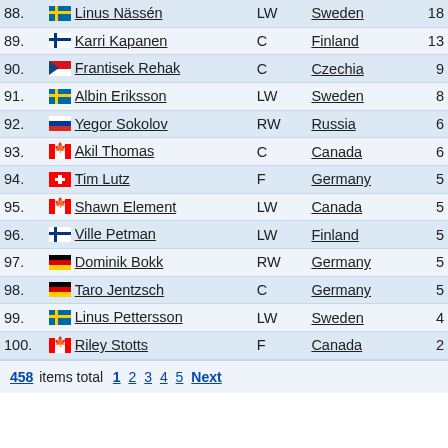| # | Name | Pos | Country | Pts |
| --- | --- | --- | --- | --- |
| 88. | Linus Nässén | LW | Sweden | 18 |
| 89. | Karri Kapanen | C | Finland | 13 |
| 90. | Frantisek Rehak | C | Czechia | 9 |
| 91. | Albin Eriksson | LW | Sweden | 8 |
| 92. | Yegor Sokolov | RW | Russia | 6 |
| 93. | Akil Thomas | C | Canada | 6 |
| 94. | Tim Lutz | F | Germany | 5 |
| 95. | Shawn Element | LW | Canada | 5 |
| 96. | Ville Petman | LW | Finland | 5 |
| 97. | Dominik Bokk | RW | Germany | 5 |
| 98. | Taro Jentzsch | C | Germany | 5 |
| 99. | Linus Pettersson | LW | Sweden | 4 |
| 100. | Riley Stotts | F | Canada | 2 |
458 items total  1  2  3  4  5  Next